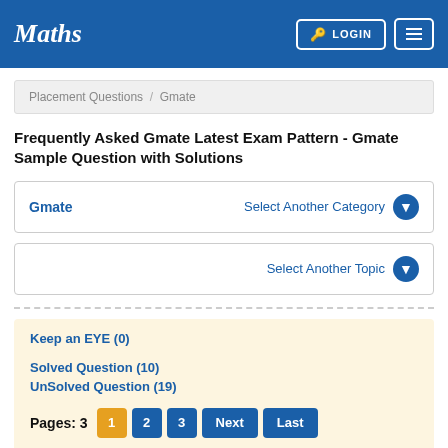Maths  LOGIN  ☰
Placement Questions / Gmate
Frequently Asked Gmate Latest Exam Pattern - Gmate Sample Question with Solutions
Gmate   Select Another Category
Select Another Topic
Keep an EYE (0)
Solved Question (10)
UnSolved Question (19)
Pages: 3  1  2  3  Next  Last